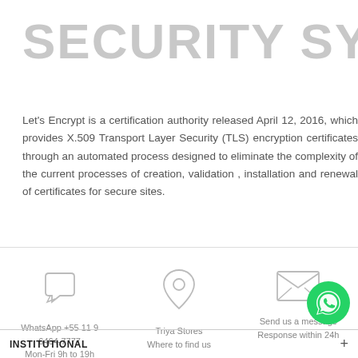SECURITY SYSTEM
Let's Encrypt is a certification authority released April 12, 2016, which provides X.509 Transport Layer Security (TLS) encryption certificates through an automated process designed to eliminate the complexity of the current processes of creation, validation , installation and renewal of certificates for secure sites.
[Figure (infographic): Three contact icons: speech bubble (WhatsApp), location pin (Triya Stores), envelope (Send message)]
WhatsApp +55 11 9 6464-7777
Mon-Fri 9h to 19h
Triya Stores
Where to find us
Send us a message
Response within 24h
[Figure (logo): WhatsApp green circular button icon]
INSTITUTIONAL  +